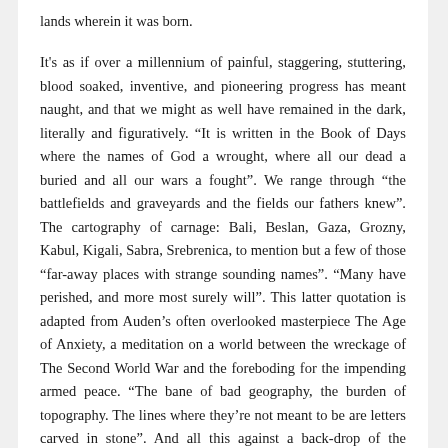lands wherein it was born.

It's as if over a millennium of painful, staggering, stuttering, blood soaked, inventive, and pioneering progress has meant naught, and that we might as well have remained in the dark, literally and figuratively. “It is written in the Book of Days where the names of God a wrought, where all our dead a buried and all our wars a fought”. We range through “the battlefields and graveyards and the fields our fathers knew”. The cartography of carnage: Bali, Beslan, Gaza, Grozny, Kabul, Kigali, Sabra, Srebrenica, to mention but a few of those “far-away places with strange sounding names”. “Many have perished, and more most surely will”. This latter quotation is adapted from Auden’s often overlooked masterpiece The Age of Anxiety, a meditation on a world between the wreckage of The Second World War and the foreboding for the impending armed peace. “The bane of bad geography, the burden of topography. The lines where they’re not meant to be are letters carved in stone”. And all this against a back-drop of the revolution despoiled, hijacked and betrayed. “The revolution’s father, the hero psychopath” shows us how hopes and dreams can be “fooled by the riddle of the revolution”.